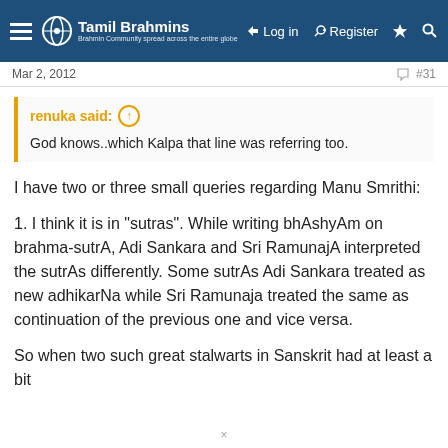Tamil Brahmins — Log in | Register
Mar 2, 2012   #31
renuka said: ↑
God knows..which Kalpa that line was referring too.
I have two or three small queries regarding Manu Smrithi:
1. I think it is in "sutras". While writing bhAshyAm on brahma-sutrA, Adi Sankara and Sri RamunajA interpreted the sutrAs differently. Some sutrAs Adi Sankara treated as new adhikarNa while Sri Ramunaja treated the same as continuation of the previous one and vice versa.
So when two such great stalwarts in Sanskrit had at least a bit